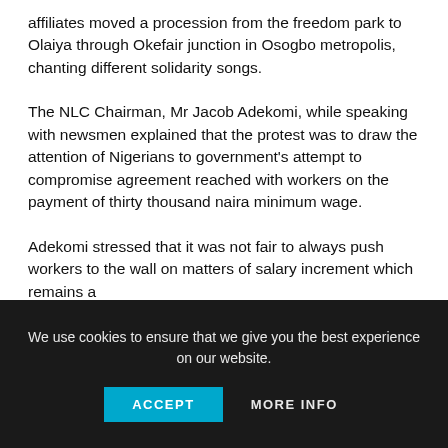affiliates moved a procession from the freedom park to Olaiya through Okefair junction in Osogbo metropolis, chanting different solidarity songs.
The NLC Chairman, Mr Jacob Adekomi, while speaking with newsmen explained that the protest was to draw the attention of Nigerians to government's attempt to compromise agreement reached with workers on the payment of thirty thousand naira minimum wage.
Adekomi stressed that it was not fair to always push workers to the wall on matters of salary increment which remains a
We use cookies to ensure that we give you the best experience on our website.